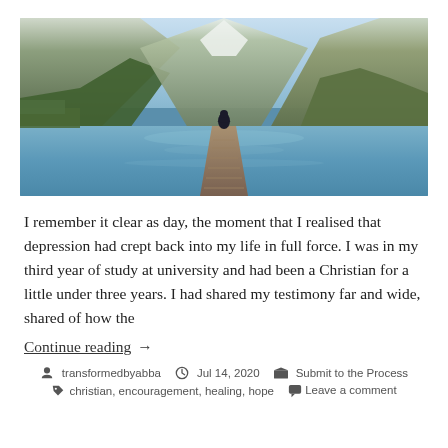[Figure (photo): Person sitting on a wooden dock extending into a calm mountain lake, surrounded by steep forested mountains with snow-capped peaks, reflections visible in the water.]
I remember it clear as day, the moment that I realised that depression had crept back into my life in full force. I was in my third year of study at university and had been a Christian for a little under three years. I had shared my testimony far and wide, shared of how the
Continue reading  →
transformedbyabba   Jul 14, 2020   Submit to the Process
christian, encouragement, healing, hope   Leave a comment